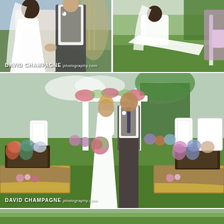[Figure (photo): Top-left: Bride in white wedding dress and veil holding hands with groom in white shirt and gray vest, outdoor setting with greenery. Watermark: DAVID CHAMPAGNE photography.com]
[Figure (photo): Top-right: Bride in white wedding dress with long train kneeling on green grass during outdoor ceremony, another person visible at right.]
[Figure (photo): Middle: Bride and groom walking down the aisle after ceremony at outdoor rustic wedding venue with hay bales draped in burlap, white lanterns, guests seated on either side, floral arch arbor in background. Watermark: DAVID CHAMPAGNE photography.com]
[Figure (photo): Bottom sliver: Partial view of another outdoor wedding photo, partially cut off.]